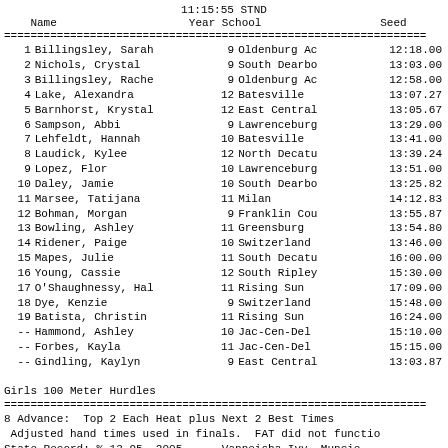11:15:55  STND
| Name | Year | School | Seed |
| --- | --- | --- | --- |
| 1 Billingsley, Sarah | 9 | Oldenburg Ac | 12:18.00 |
| 2 Nichols, Crystal | 9 | South Dearbo | 13:03.00 |
| 3 Billingsley, Rache | 9 | Oldenburg Ac | 12:58.00 |
| 4 Lake, Alexandra | 12 | Batesville | 13:07.27 |
| 5 Barnhorst, Krystal | 12 | East Central | 13:05.67 |
| 6 Sampson, Abbi | 9 | Lawrenceburg | 13:29.00 |
| 7 Lehfeldt, Hannah | 10 | Batesville | 13:41.00 |
| 8 Laudick, Kylee | 12 | North Decatu | 13:39.24 |
| 9 Lopez, Flor | 10 | Lawrenceburg | 13:51.00 |
| 10 Daley, Jamie | 10 | South Dearbo | 13:25.82 |
| 11 Marsee, Tatijana | 11 | Milan | 14:12.83 |
| 12 Bohman, Morgan | 9 | Franklin Cou | 13:55.87 |
| 13 Bowling, Ashley | 11 | Greensburg | 13:54.80 |
| 14 Ridener, Paige | 10 | Switzerland | 13:46.00 |
| 15 Mapes, Julie | 11 | South Decatu | 16:00.00 |
| 16 Young, Cassie | 12 | South Ripley | 15:30.00 |
| 17 O'Shaughnessy, Hal | 11 | Rising Sun | 17:09.00 |
| 18 Dye, Kenzie | 9 | Switzerland | 15:48.00 |
| 19 Batista, Christin | 11 | Rising Sun | 16:24.00 |
| -- Hammond, Ashley | 10 | Jac-Cen-Del | 15:10.00 |
| -- Forbes, Kayla | 11 | Jac-Cen-Del | 15:15.00 |
| -- Gindling, Kaylyn | 9 | East Central | 13:03.87 |
Girls 100 Meter Hurdles
8 Advance:  Top 2 Each Heat plus Next 2 Best Times
 Adjusted hand times used in finals.  FAT did not functio
State Record: % 13.95  2005      Vanneisha Ivy  Muncie